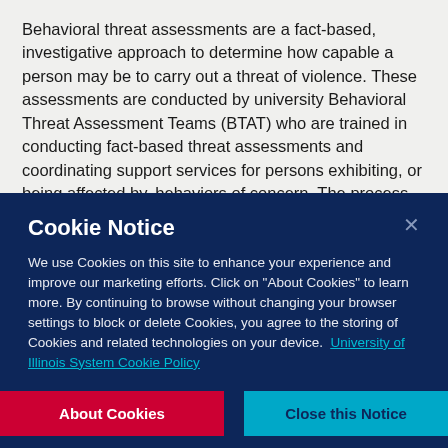Behavioral threat assessments are a fact-based, investigative approach to determine how capable a person may be to carry out a threat of violence. These assessments are conducted by university Behavioral Threat Assessment Teams (BTAT) who are trained in conducting fact-based threat assessments and coordinating support services for persons exhibiting, or being affected by, behaviors of concern. The process from intake through assessment is standardized to the greatest extent possible in order to ensure a thorough, fair, and fact-based process for all persons involved.
Cookie Notice

We use Cookies on this site to enhance your experience and improve our marketing efforts. Click on "About Cookies" to learn more. By continuing to browse without changing your browser settings to block or delete Cookies, you agree to the storing of Cookies and related technologies on your device. University of Illinois System Cookie Policy